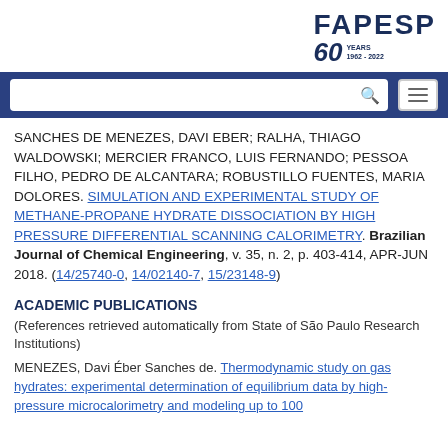[Figure (logo): FAPESP 60 Years 1962-2022 logo in dark navy blue]
[Figure (screenshot): Navigation bar with search box and hamburger menu button on dark blue background]
SANCHES DE MENEZES, DAVI EBER; RALHA, THIAGO WALDOWSKI; MERCIER FRANCO, LUIS FERNANDO; PESSOA FILHO, PEDRO DE ALCANTARA; ROBUSTILLO FUENTES, MARIA DOLORES. SIMULATION AND EXPERIMENTAL STUDY OF METHANE-PROPANE HYDRATE DISSOCIATION BY HIGH PRESSURE DIFFERENTIAL SCANNING CALORIMETRY. Brazilian Journal of Chemical Engineering, v. 35, n. 2, p. 403-414, APR-JUN 2018. (14/25740-0, 14/02140-7, 15/23148-9)
ACADEMIC PUBLICATIONS
(References retrieved automatically from State of São Paulo Research Institutions)
MENEZES, Davi Éber Sanches de. Thermodynamic study on gas hydrates: experimental determination of equilibrium data by high-pressure microcalorimetry and modeling up to 100